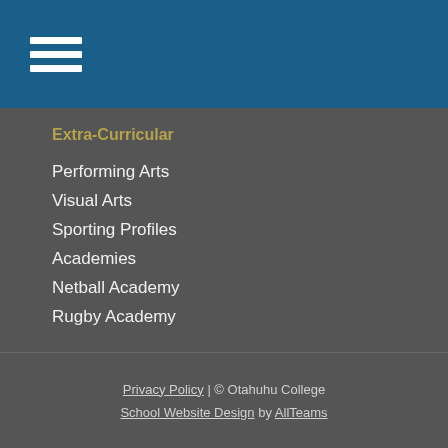☰ (hamburger menu icon)
Extra-Curricular
Performing Arts
Visual Arts
Sporting Profiles
Academies
Netball Academy
Rugby Academy
Privacy Policy | © Otahuhu College
School Website Design by AllTeams